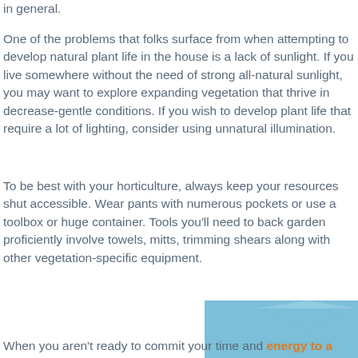in general.
One of the problems that folks surface from when attempting to develop natural plant life in the house is a lack of sunlight. If you live somewhere without the need of strong all-natural sunlight, you may want to explore expanding vegetation that thrive in decrease-gentle conditions. If you wish to develop plant life that require a lot of lighting, consider using unnatural illumination.
To be best with your horticulture, always keep your resources shut accessible. Wear pants with numerous pockets or use a toolbox or huge container. Tools you'll need to back garden proficiently involve towels, mitts, trimming shears along with other vegetation-specific equipment.
When you aren't ready to commit your time and energy to a